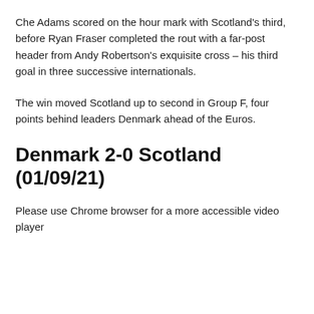Che Adams scored on the hour mark with Scotland's third, before Ryan Fraser completed the rout with a far-post header from Andy Robertson's exquisite cross – his third goal in three successive internationals.
The win moved Scotland up to second in Group F, four points behind leaders Denmark ahead of the Euros.
Denmark 2-0 Scotland (01/09/21)
Please use Chrome browser for a more accessible video player